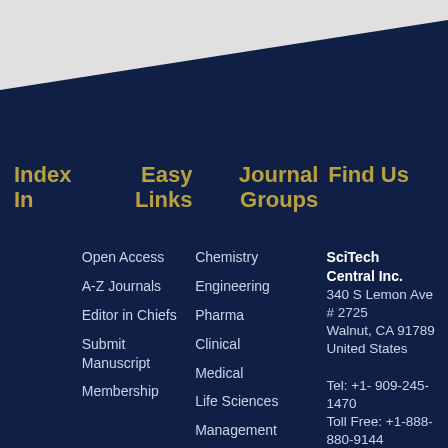Index In
Easy Links
Journal Groups
Find Us
Open Access
A-Z Journals
Editor in Chiefs
Submit Manuscript
Membership
Chemistry
Engineering
Pharma
Clinical
Medical
Life Sciences
Management
SciTech Central Inc.
340 S Lemon Ave # 2725
Walnut, CA 91789
United States

Tel: +1- 909-245-1470
Toll Free: +1-888-880-9144

Email: